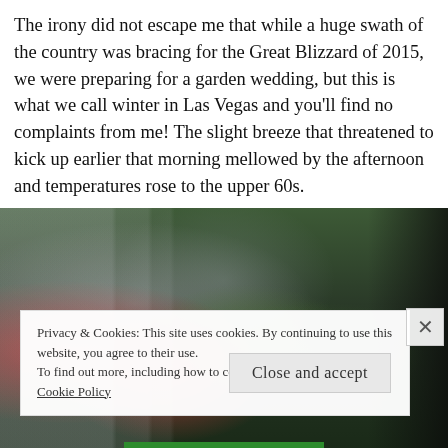The irony did not escape me that while a huge swath of the country was bracing for the Great Blizzard of 2015, we were preparing for a garden wedding, but this is what we call winter in Las Vegas and you'll find no complaints from me! The slight breeze that threatened to kick up earlier that morning mellowed by the afternoon and temperatures rose to the upper 60s.
[Figure (photo): Dark photograph of table setting with glassware, red berries/fruits, candles, and green foliage in the background, taken at a garden wedding reception.]
Privacy & Cookies: This site uses cookies. By continuing to use this website, you agree to their use.
To find out more, including how to control cookies, see here: Cookie Policy